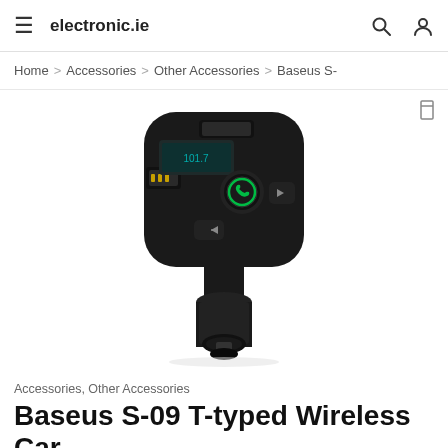electronic.ie
Home > Accessories > Other Accessories > Baseus S-
[Figure (photo): Product photo of Baseus S-09 T-typed Wireless Car Charger — a black car charger/FM transmitter with USB ports, a round green call button, control buttons, and a cigarette lighter plug]
Accessories, Other Accessories
Baseus S-09 T-typed Wireless Car Charger